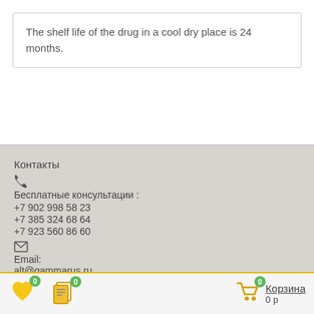The shelf life of the drug in a cool dry place is 24 months.
Контакты
☎
Бесплатные консультации :
+7 902 998 58 23
+7 385 324 68 64
+7 923 560 86 60
✉
Email:
alt@gammarus.ru
Подписка
Хотите получать больше скидок?
Не пропустите выгодные акции, подпишитесь на нашу рассылку.
♥ 0  🗋 0  Корзина 0 р